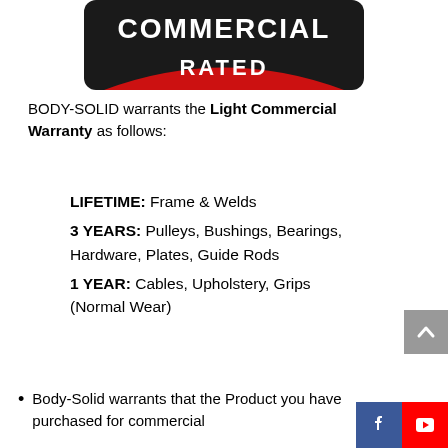[Figure (logo): Commercial Rated badge with black background and red arc with white text COMMERCIAL RATED]
BODY-SOLID warrants the Light Commercial Warranty as follows:
LIFETIME: Frame & Welds
3 YEARS: Pulleys, Bushings, Bearings, Hardware, Plates, Guide Rods
1 YEAR: Cables, Upholstery, Grips (Normal Wear)
Body-Solid warrants that the Product you have purchased for commercial